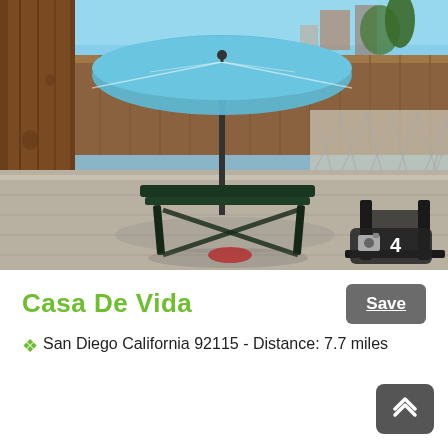[Figure (photo): Outdoor patio area with wooden fence, patio table and chairs under a blue umbrella, concrete/wood deck flooring, lattice fence on right side, blue sky visible above]
Casa De Vida
Save
San Diego California 92115 - Distance: 7.7 miles